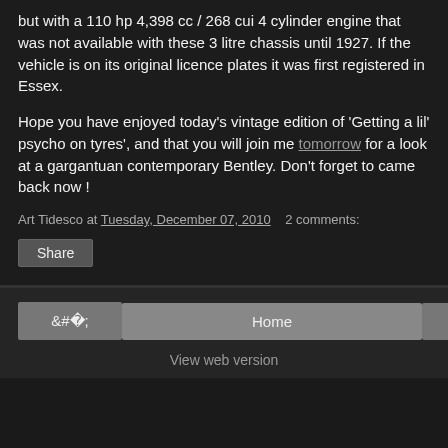but with a 110 hp 4,398 cc / 268 cui 4 cylinder engine that was not available with these 3 litre chassis until 1927. If the vehicle is on its original licence plates it was first registered in Essex.
Hope you have enjoyed today's vintage edition of 'Getting a lil' psycho on tyres', and that you will join me tomorrow for a look at a gargantuan contemporary Bentley. Don't forget to came back now !
Art Tidesco at Tuesday, December 07, 2010   2 comments:
Share
‹
Home
›
View web version